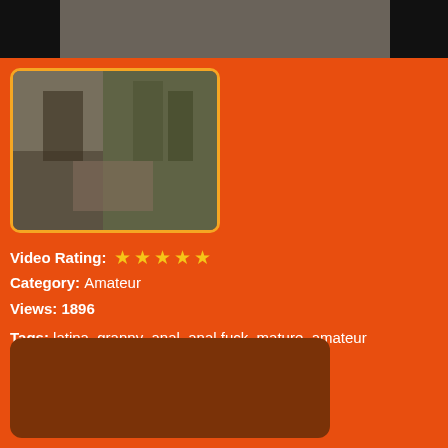[Figure (photo): Top banner area with dark/black background and blurred skin-tone image]
[Figure (photo): Thumbnail image with orange border showing an indoor scene with chairs and figures, dimly lit]
Video Rating: ★★★★★
Category: Amateur
Views: 1896
Tags: latina granny anal anal fuck mature amateur homemade blowjob
[Figure (other): Dark brownish-red rounded rectangle box at the bottom]